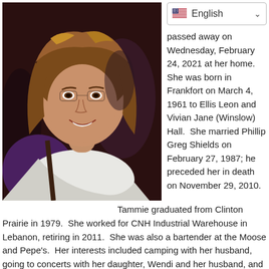[Figure (photo): Portrait photo of a smiling woman with layered brown-blonde hair, wearing a white top, in a dimly lit indoor setting.]
English (language selector dropdown)
passed away on Wednesday, February 24, 2021 at her home. She was born in Frankfort on March 4, 1961 to Ellis Leon and Vivian Jane (Winslow) Hall. She married Phillip Greg Shields on February 27, 1987; he preceded her in death on November 29, 2010.
Tammie graduated from Clinton Prairie in 1979. She worked for CNH Industrial Warehouse in Lebanon, retiring in 2011. She was also a bartender at the Moose and Pepe's. Her interests included camping with her husband, going to concerts with her daughter, Wendi and her husband, and spending time with her grandchildren.